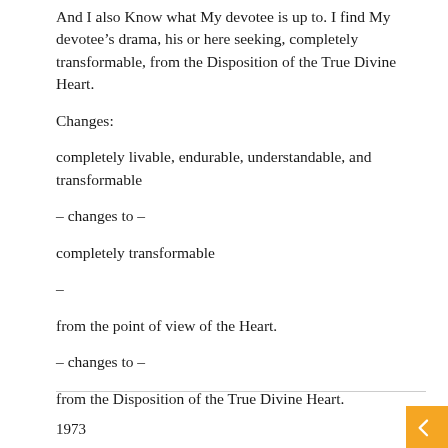And I also Know what My devotee is up to. I find My devotee’s drama, his or here seeking, completely transformable, from the Disposition of the True Divine Heart.
Changes:
completely livable, endurable, understandable, and transformable
– changes to –
completely transformable
–
from the point of view of the Heart.
– changes to –
from the Disposition of the True Divine Heart.
1973